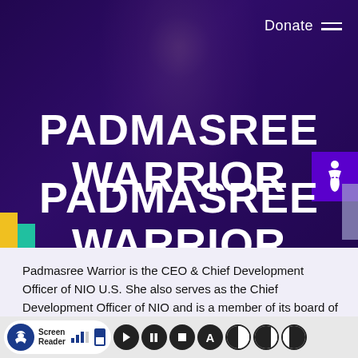[Figure (photo): Hero banner with a woman sitting in a chair outdoors, overlaid with a dark purple tint. Top right shows 'Donate' text with hamburger menu icon. An accessibility (wheelchair) icon appears on the right side. Large bold white text reads 'PADMASREE WARRIOR'. Color accent tabs (yellow, teal) in bottom left corner.]
PADMASREE WARRIOR
Padmasree Warrior is the CEO & Chief Development Officer of NIO U.S. She also serves as the Chief Development Officer of NIO and is a member of its board of directors. She is responsible for the brains of NIO's autonomous, electric vehicles, as well as the overa
Screen Reader [toolbar icons]